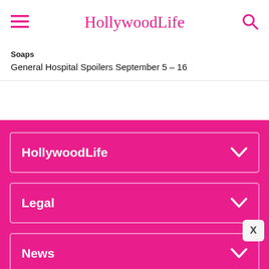HollywoodLife
Soaps
General Hospital Spoilers September 5 – 16
HollywoodLife
Legal
News